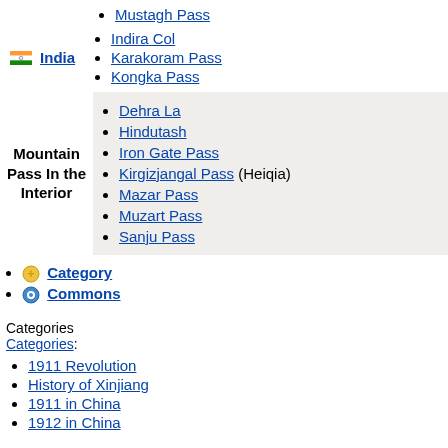Mustagh Pass
Indira Col
Karakoram Pass
Kongka Pass
India
Dehra La
Hindutash
Iron Gate Pass
Kirgizjangal Pass (Heiqia)
Mazar Pass
Muzart Pass
Sanju Pass
Mountain Pass In the Interior
Category
Commons
Categories
Categories:
1911 Revolution
History of Xinjiang
1911 in China
1912 in China